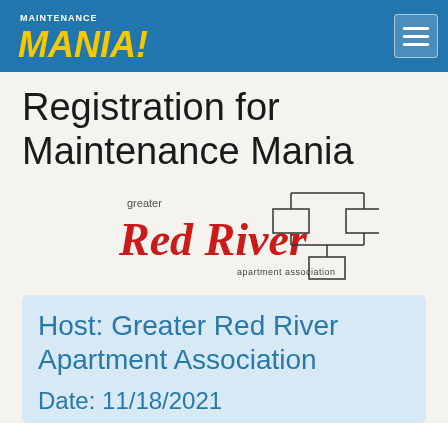Maintenance Mania!
Registration for Maintenance Mania
[Figure (logo): Greater Red River Apartment Association logo with cursive red text and organizational chart graphic]
Host: Greater Red River Apartment Association
Date: 11/18/2021